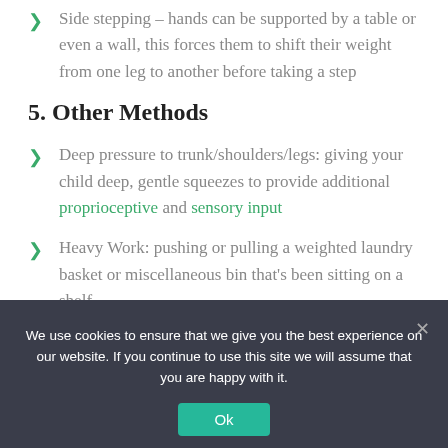Side stepping – hands can be supported by a table or even a wall, this forces them to shift their weight from one leg to another before taking a step
5. Other Methods
Deep pressure to trunk/shoulders/legs: giving your child deep, gentle squeezes to provide additional proprioceptive and sensory input
Heavy Work: pushing or pulling a weighted laundry basket or miscellaneous bin that's been sitting on a shelf
We use cookies to ensure that we give you the best experience on our website. If you continue to use this site we will assume that you are happy with it.